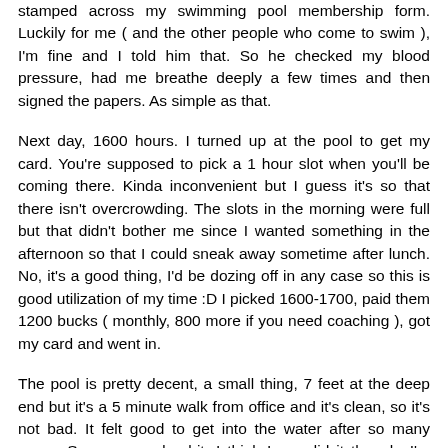stamped across my swimming pool membership form. Luckily for me ( and the other people who come to swim ), I'm fine and I told him that. So he checked my blood pressure, had me breathe deeply a few times and then signed the papers. As simple as that.
Next day, 1600 hours. I turned up at the pool to get my card. You're supposed to pick a 1 hour slot when you'll be coming there. Kinda inconvenient but I guess it's so that there isn't overcrowding. The slots in the morning were full but that didn't bother me since I wanted something in the afternoon so that I could sneak away sometime after lunch. No, it's a good thing, I'd be dozing off in any case so this is good utilization of my time :D I picked 1600-1700, paid them 1200 bucks ( monthly, 800 more if you need coaching ), got my card and went in.
The pool is pretty decent, a small thing, 7 feet at the deep end but it's a 5 minute walk from office and it's clean, so it's not bad. It felt good to get into the water after so many years. Swam around a bit, I think I overdid it though, I'm now beginning to feel aches and I'm sure I'm going to be stiff all